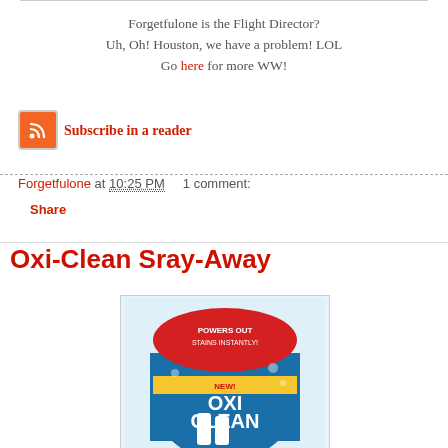Forgetfulone is the Flight Director?
Uh, Oh! Houston, we have a problem! LOL
Go here for more WW!
[Figure (logo): RSS feed icon - orange square with white RSS symbol]
Subscribe in a reader
Forgetfulone at 10:25 PM    1 comment:
Share
Oxi-Clean Sray-Away
[Figure (photo): OxiClean Spray-A-Way product photo showing the blue product packaging with red and yellow branding]